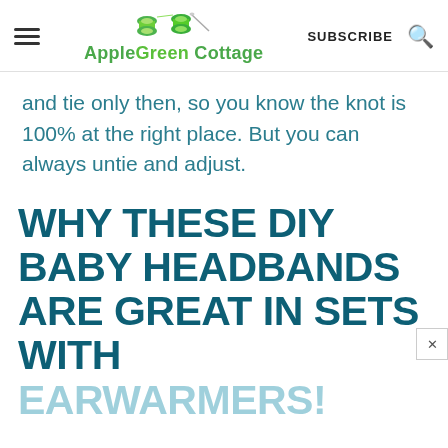AppleGreen Cottage  SUBSCRIBE
and tie only then, so you know the knot is 100% at the right place. But you can always untie and adjust.
WHY THESE DIY BABY HEADBANDS ARE GREAT IN SETS WITH
EARWARMERS!